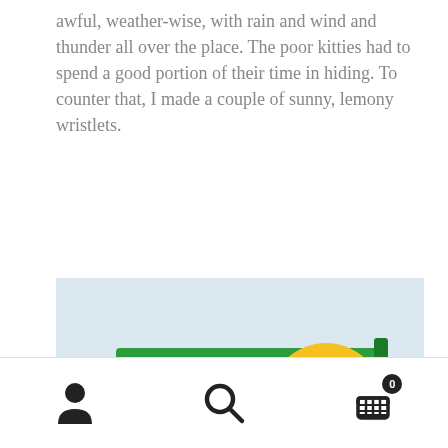awful, weather-wise, with rain and wind and thunder all over the place. The poor kitties had to spend a good portion of their time in hiding. To counter that, I made a couple of sunny, lemony wristlets.
[Figure (photo): A yellow lemon-patterned fabric wristlet/clutch bag with a green zipper, featuring bold graphic lemons in yellow, white, and green on white fabric background.]
[Figure (infographic): Mobile app bottom navigation bar with three icons: user/profile icon (left), search/magnifying glass icon (center), and shopping cart icon with badge showing '0' (right).]